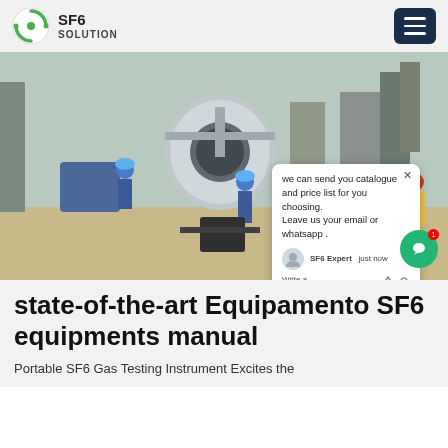SF6 SOLUTION
[Figure (photo): Workers in blue hard hats and coveralls working on large industrial SF6 gas equipment at a substation or industrial site. A chat popup overlay is visible reading: 'we can send you catalogue and price list for you choosing. Leave us your email or whatsapp.' with SF6 Expert label and 'just now' timestamp. SF6China watermark in orange at bottom right.]
state-of-the-art Equipamento SF6 equipments manual
Portable SF6 Gas Testing Instrument Excites the